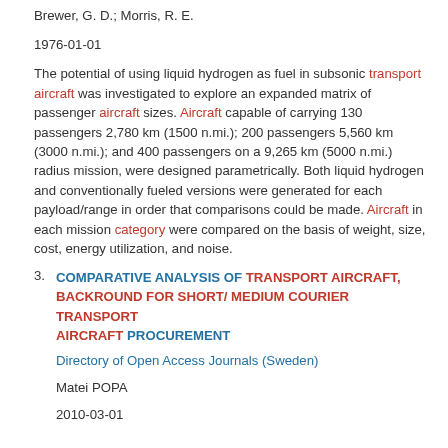Brewer, G. D.; Morris, R. E.
1976-01-01
The potential of using liquid hydrogen as fuel in subsonic transport aircraft was investigated to explore an expanded matrix of passenger aircraft sizes. Aircraft capable of carrying 130 passengers 2,780 km (1500 n.mi.); 200 passengers 5,560 km (3000 n.mi.); and 400 passengers on a 9,265 km (5000 n.mi.) radius mission, were designed parametrically. Both liquid hydrogen and conventionally fueled versions were generated for each payload/range in order that comparisons could be made. Aircraft in each mission category were compared on the basis of weight, size, cost, energy utilization, and noise.
3. COMPARATIVE ANALYSIS OF TRANSPORT AIRCRAFT, BACKROUND FOR SHORT/ MEDIUM COURIER TRANSPORT AIRCRAFT PROCUREMENT
Directory of Open Access Journals (Sweden)
Matei POPA
2010-03-01